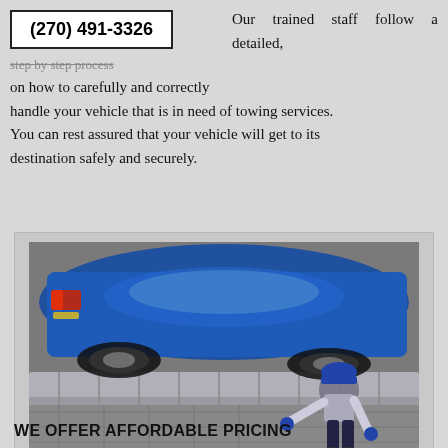(270) 491-3326  Our trained staff follow a detailed, step by step process on how to carefully and correctly handle your vehicle that is in need of towing services. You can rest assured that your vehicle will get to its destination safely and securely.
[Figure (photo): A tow truck worker in blue cap and gloves crouching next to a blue car being loaded onto a flatbed tow truck, viewed from above.]
WE OFFER AFFORDABLE PRICING